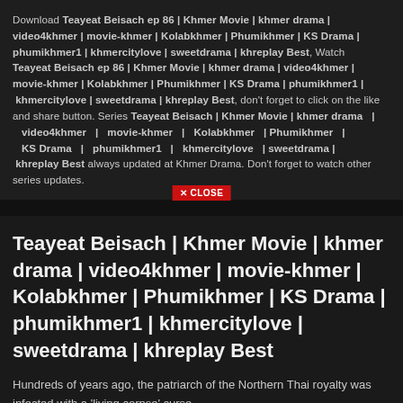Download Teayeat Beisach ep 86 | Khmer Movie | khmer drama | video4khmer | movie-khmer | Kolabkhmer | Phumikhmer | KS Drama | phumikhmer1 | khmercitylove | sweetdrama | khreplay Best, Watch Teayeat Beisach ep 86 | Khmer Movie | khmer drama | video4khmer | movie-khmer | Kolabkhmer | Phumikhmer | KS Drama | phumikhmer1 | khmercitylove | sweetdrama | khreplay Best, don't forget to click on the like and share button. Series Teayeat Beisach | Khmer Movie | khmer drama | video4khmer | movie-khmer | Kolabkhmer | Phumikhmer | KS Drama | phumikhmer1 | khmercitylove | sweetdrama | khreplay Best always updated at Khmer Drama. Don't forget to watch other series updates.
Teayeat Beisach | Khmer Movie | khmer drama | video4khmer | movie-khmer | Kolabkhmer | Phumikhmer | KS Drama | phumikhmer1 | khmercitylove | sweetdrama | khreplay Best
Hundreds of years ago, the patriarch of the Northern Thai royalty was infected with a 'living corpse' curse,